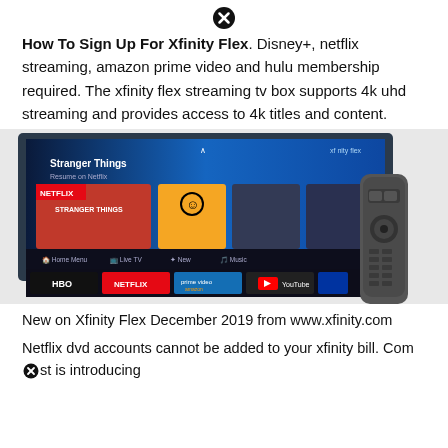[Figure (other): Close/dismiss button icon (circled X)]
How To Sign Up For Xfinity Flex. Disney+, netflix streaming, amazon prime video and hulu membership required. The xfinity flex streaming tv box supports 4k uhd streaming and provides access to 4k titles and content.
[Figure (photo): Photo of Xfinity Flex TV box UI showing Stranger Things on Netflix on a TV screen, with HBO, Netflix, Amazon Prime Video, YouTube app icons, and a remote control in the foreground.]
New on Xfinity Flex December 2019 from www.xfinity.com
Netflix dvd accounts cannot be added to your xfinity bill. Com✕st is introducing